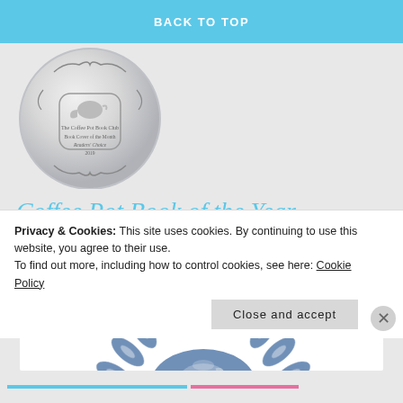BACK TO TOP
[Figure (logo): Circular silver medallion badge: The Coffee Pot Book Club, Book Cover of the Month, Readers' Choice, 2019, with decorative scrollwork border and teapot icon]
Coffee Pot Book of the Year
[Figure (logo): Blue and white award laurel wreath logo with teapot silhouette in the center oval, partially visible]
Privacy & Cookies: This site uses cookies. By continuing to use this website, you agree to their use.
To find out more, including how to control cookies, see here: Cookie Policy
Close and accept